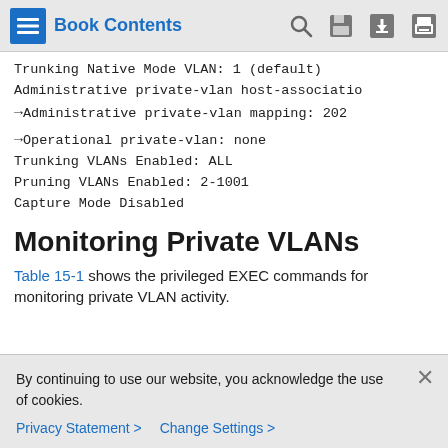Book Contents
Trunking Native Mode VLAN: 1 (default)
Administrative private-vlan host-associatio
→Administrative private-vlan mapping: 202
→Operational private-vlan: none
Trunking VLANs Enabled: ALL
Pruning VLANs Enabled: 2-1001
Capture Mode Disabled
Monitoring Private VLANs
Table 15-1 shows the privileged EXEC commands for monitoring private VLAN activity.
By continuing to use our website, you acknowledge the use of cookies.
Privacy Statement >  Change Settings >